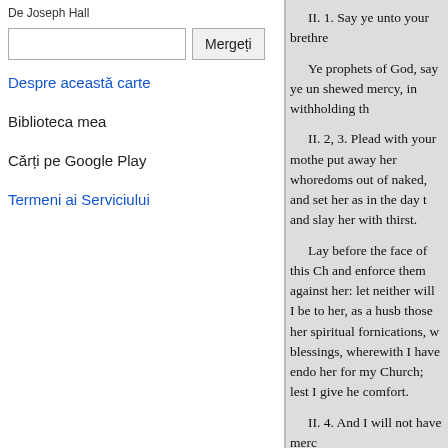De Joseph Hall
Despre această carte
Biblioteca mea
Cărți pe Google Play
Termeni ai Serviciului
II. 1. Say ye unto your brethre

Ye prophets of God, say ye un shewed mercy, in withholding th

II. 2, 3. Plead with your mothe put away her whoredoms out of naked, and set her as in the day t and slay her with thirst.

Lay before the face of this Ch and enforce them against her: let neither will I be to her, as a husb those her spiritual fornications, w blessings, wherewith I have endo her for my Church; lest I give he comfort.

II. 4. And I will not have merc

As for those several persons, w are, as it were, the sons of her wo they are bred and born in the pra